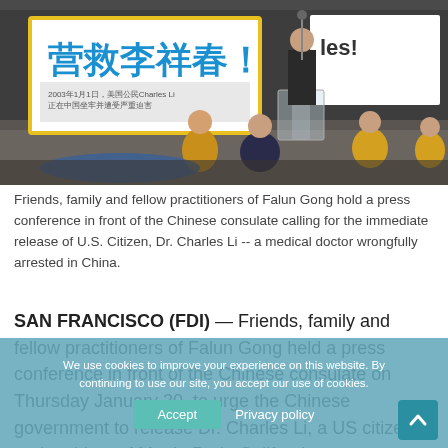[Figure (photo): Protest scene: Friends, family and fellow practitioners of Falun Gong hold signs including one in Chinese characters reading '营救李祥春！' at a press conference in front of the Chinese consulate. People are sitting cross-legged on the ground meditating while others stand with signs. A person speaks at a podium/microphone.]
Friends, family and fellow practitioners of Falun Gong hold a press conference in front of the Chinese consulate calling for the immediate release of U.S. Citizen, Dr. Charles Li -- a medical doctor wrongfully arrested in China.
SAN FRANCISCO (FDI) — Friends, family and fellow practitioners of Falun Gong held a press conference in front of the Chinese consulate on Thursday January 30, to urge the Chinese government to release Dr. Charles Li, a US citizen and resident of Menlo Park, California.
We use cookies to improve your experience on this website. By continuing to use our site, you accept our use of cookies.
Accept    Privacy policy